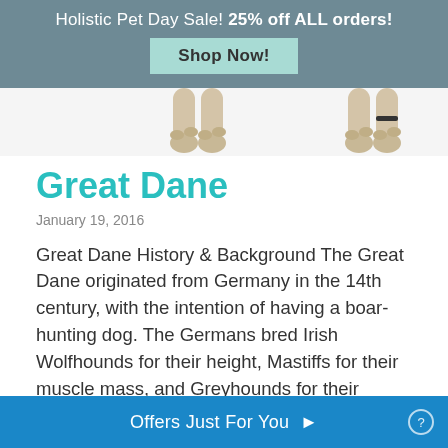Holistic Pet Day Sale! 25% off ALL orders! Shop Now!
[Figure (photo): Dog paws visible at top of page against light background]
Great Dane
January 19, 2016
Great Dane History & Background The Great Dane originated from Germany in the 14th century, with the intention of having a boar-hunting dog. The Germans bred Irish Wolfhounds for their height, Mastiffs for their muscle mass, and Greyhounds for their speed. The breed has been renamed multiple times, starting off as the English Docke, then…
Offers Just For You ▶